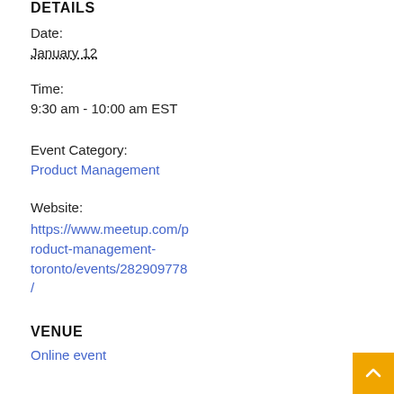DETAILS
ORGANIZER
Date:
Product School Toronto
January 12
Time:
9:30 am - 10:00 am EST
Event Category:
Product Management
Website:
https://www.meetup.com/product-management-toronto/events/282909778/
VENUE
Online event